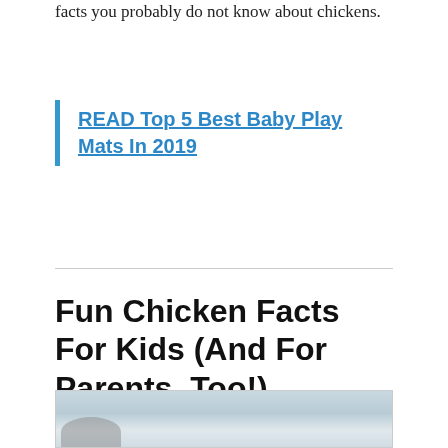facts you probably do not know about chickens.
READ Top 5 Best Baby Play Mats In 2019
Fun Chicken Facts For Kids (And For Parents, Too!)
[Figure (photo): Photo of a chicken or chickens, light blue-grey sky background with partial view of a white/grey chicken at bottom left]